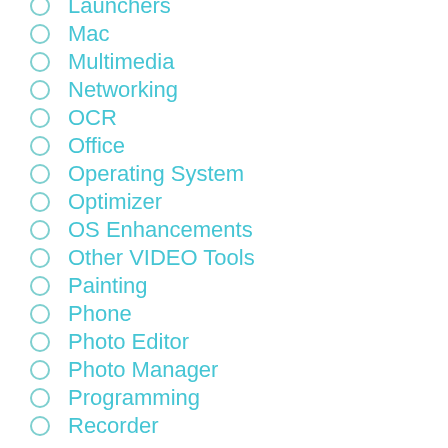Launchers
Mac
Multimedia
Networking
OCR
Office
Operating System
Optimizer
OS Enhancements
Other VIDEO Tools
Painting
Phone
Photo Editor
Photo Manager
Programming
Recorder